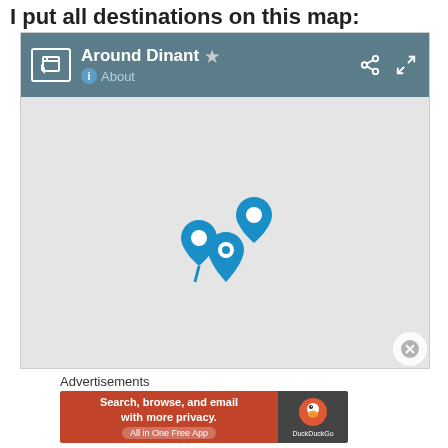I put all destinations on this map:
[Figure (screenshot): Screenshot of a Google Maps embed titled 'Around Dinant' with a blue-gray header bar showing a star icon, share icon, and fullscreen icon. The map body is a light gray map area with several blue map pin markers clustered in the center. A close (X) button appears at the bottom right.]
Advertisements
[Figure (screenshot): DuckDuckGo advertisement banner with orange left side reading 'Search, browse, and email with more privacy. All in One Free App' and dark right side with DuckDuckGo logo duck icon and 'DuckDuckGo' text.]